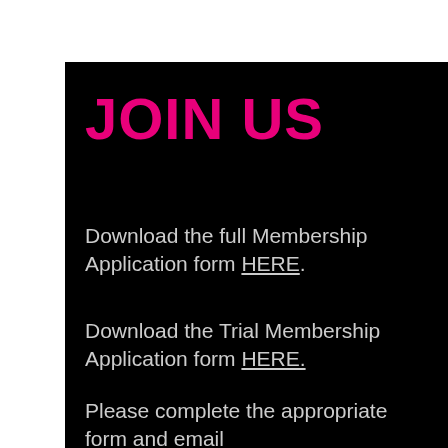JOIN US
Download the full Membership Application form HERE.
Download the Trial Membership Application form HERE.
Please complete the appropriate form and email membership@farnhamtownrunnin...